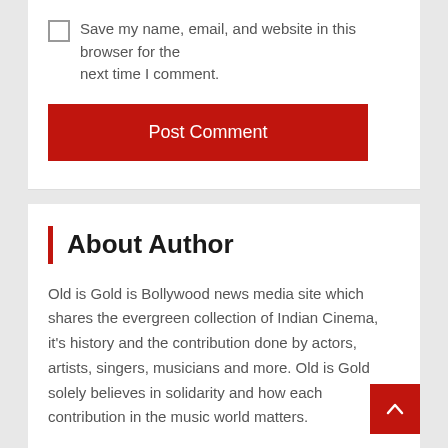Save my name, email, and website in this browser for the next time I comment.
Post Comment
About Author
Old is Gold is Bollywood news media site which shares the evergreen collection of Indian Cinema, it's history and the contribution done by actors, artists, singers, musicians and more. Old is Gold solely believes in solidarity and how each contribution in the music world matters.
Visit and enjoy songs and lyrics of various artists. Also, check our Podcast for more.